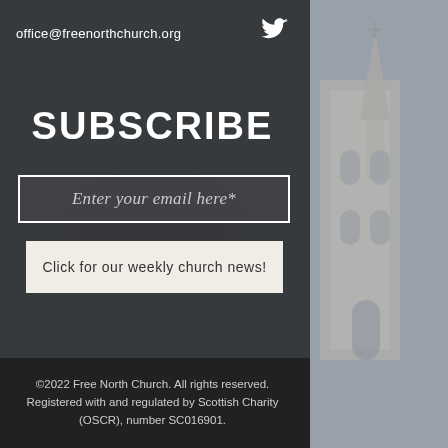office@freenorthchurch.org
SUBSCRIBE
Enter your email here*
Click for our weekly church news!
©2022 Free North Church. All rights reserved. Registered with and regulated by Scottish Charity (OSCR), number SC016901.